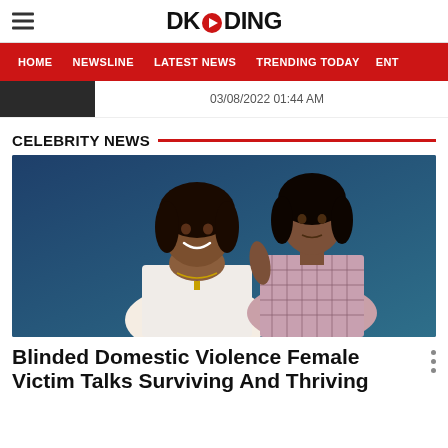DKODING
HOME  NEWSLINE  LATEST NEWS  TRENDING TODAY  ENT
03/08/2022 01:44 AM
CELEBRITY NEWS
[Figure (photo): Two Black women posing against a dark blue background. The woman in front wears a white top and has a cross necklace, smiling at the camera. The woman behind her wears a pink plaid dress.]
Blinded Domestic Violence Female Victim Talks Surviving And Thriving